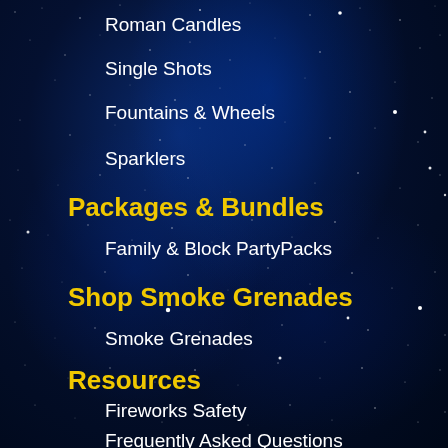Roman Candles
Single Shots
Fountains & Wheels
Sparklers
Packages & Bundles
Family & Block PartyPacks
Shop Smoke Grenades
Smoke Grenades
Resources
Fireworks Safety
Frequently Asked Questions